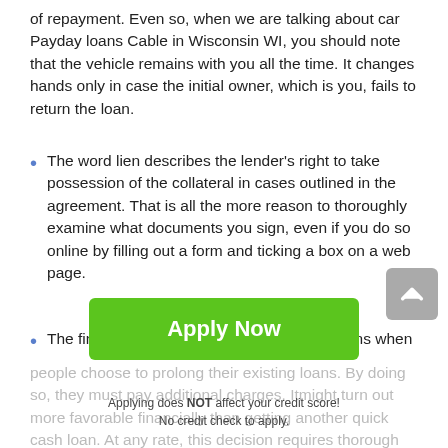of repayment. Even so, when we are talking about car Payday loans Cable in Wisconsin WI, you should note that the vehicle remains with you all the time. It changes hands only in case the initial owner, which is you, fails to return the loan.
The word lien describes the lender's right to take possession of the collateral in cases outlined in the agreement. That is all the more reason to thoroughly examine what documents you sign, even if you do so online by filling out a form and ticking a box on a web page.
The financial term rollover is used for situations when people choose to prolong their existing loans. By doing so, they must pay additional charges. It might turn out more favorable financially than getting another quick cash loan. At any rate, this decision requires thorough consideration, w... in the whole